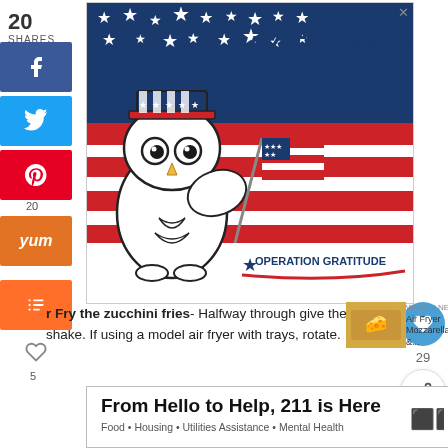[Figure (illustration): Advertisement banner: SAY THANK YOU TO DEPLOYED TROOPS - Operation Gratitude, featuring an owl with Uncle Sam hat holding a US flag against red/white/blue stripes background]
20
SHARES
[Figure (infographic): Social sharing sidebar with Facebook, Twitter, Pinterest (20), Yummly, Mix, and heart (5) buttons]
Air Fry the zucchini fries- Halfway through give the basket a shake. If using a model air fryer with trays, rotate.
[Figure (photo): What's Next thumbnail - Air Fryer Mozzarella image]
WHAT'S NEXT → Air Fryer Mozzarella &...
[Figure (infographic): Heart/like button with count 29 and share button on right side]
[Figure (infographic): Bottom advertisement: From Hello to Help, 211 is Here - Food • Housing • Utilities Assistance • Mental Health]